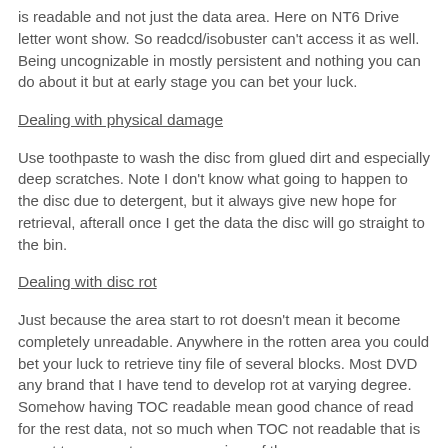is readable and not just the data area. Here on NT6 Drive letter wont show. So readcd/isobuster can't access it as well. Being uncognizable in mostly persistent and nothing you can do about it but at early stage you can bet your luck.
Dealing with physical damage
Use toothpaste to wash the disc from glued dirt and especially deep scratches. Note I don't know what going to happen to the disc due to detergent, but it always give new hope for retrieval, afterall once I get the data the disc will go straight to the bin.
Dealing with disc rot
Just because the area start to rot doesn't mean it become completely unreadable. Anywhere in the rotten area you could bet your luck to retrieve tiny file of several blocks. Most DVD any brand that I have tend to develop rot at varying degree. Somehow having TOC readable mean good chance of read for the rest data, not so much when TOC not readable that is resort to use sector range copying, of the